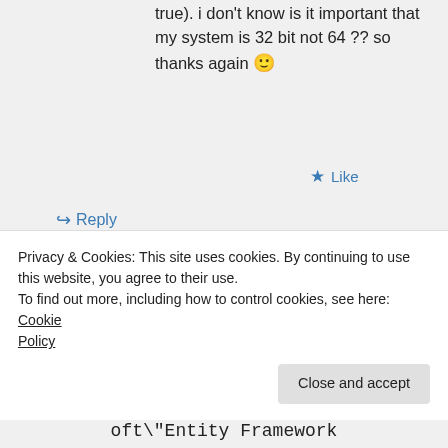true). i don't know is it important that my system is 32 bit not 64 ?? so thanks again 🙂
★ Like
↪ Reply
moozzyk on March 30, 2015 at 9:15 am
Privacy & Cookies: This site uses cookies. By continuing to use this website, you agree to their use.
To find out more, including how to control cookies, see here: Cookie Policy
Close and accept
oft\"Entity Framework